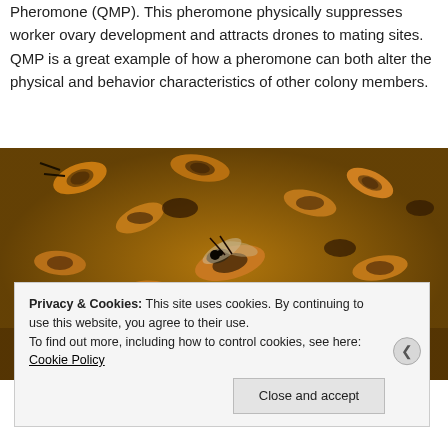Pheromone (QMP). This pheromone physically suppresses worker ovary development and attracts drones to mating sites. QMP is a great example of how a pheromone can both alter the physical and behavior characteristics of other colony members.
[Figure (photo): Close-up photograph of many honeybees clustered together on a honeycomb, with one larger bee (queen) visible near the center.]
Privacy & Cookies: This site uses cookies. By continuing to use this website, you agree to their use. To find out more, including how to control cookies, see here: Cookie Policy